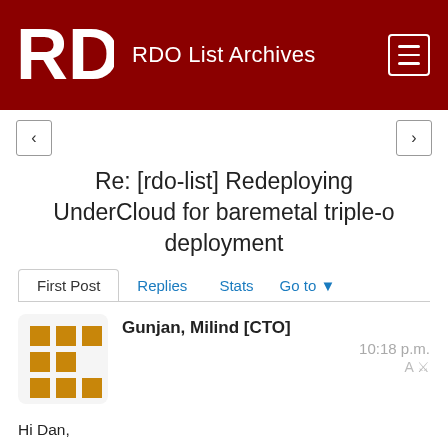RDO List Archives
Re: [rdo-list] Redeploying UnderCloud for baremetal triple-o deployment
First Post  Replies  Stats  Go to
Gunjan, Milind [CTO]   10:18 p.m.
Hi Dan,
Thanks a lot for your response.

Even after properly updating the undercloud.conf file and checking the network
configuration, undercloud deployment still fails